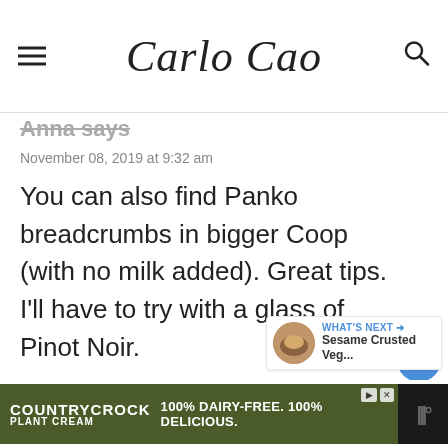Carlo Cao
Anna says
November 08, 2019 at 9:32 am
You can also find Panko breadcrumbs in bigger Coop (with no milk added). Great tips. I'll have to try with a glass of Pinot Noir.
Reply
[Figure (screenshot): COUNTRY CROCK PLANT CREAM advertisement banner: 100% DAIRY-FREE. 100% DELICIOUS.]